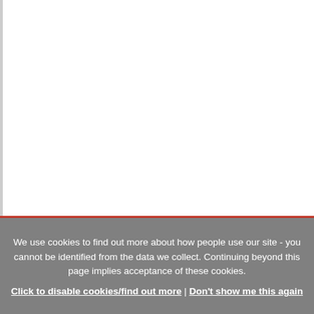We use cookies to find out more about how people use our site - you cannot be identified from the data we collect. Continuing beyond this page implies acceptance of these cookies.
Click to disable cookies/find out more | Don't show me this again